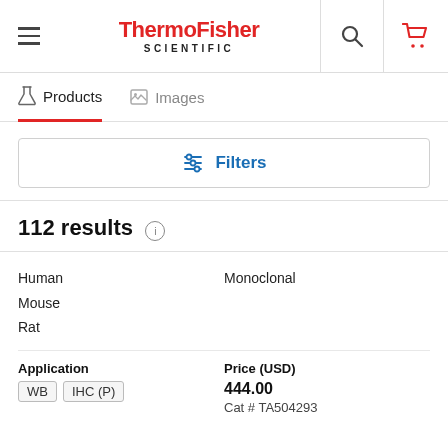[Figure (screenshot): ThermoFisher Scientific website header with logo, search icon, and cart icon]
Products   Images
Filters
112 results
Human
Mouse
Rat
Monoclonal
Application
WB   IHC (P)
Price (USD)
444.00
Cat # TA504293